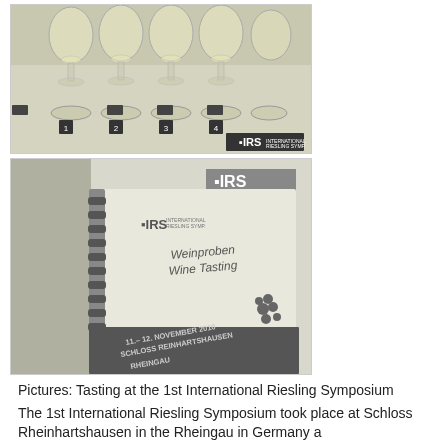[Figure (photo): Photo of numbered wine glasses arranged on a table with white tablecloth, IRS logo visible at bottom right]
[Figure (photo): Photo of a spiral-bound booklet with IRS logo reading 'Weinproben Wine Tasting' and a darker cover showing '11.-12. November 2010 Schloss Reinhartshausen Rheingau']
Pictures: Tasting at the 1st International Riesling Symposium
The 1st International Riesling Symposium took place at Schloss Rheinhartshausen in the Rheingau in Germany a